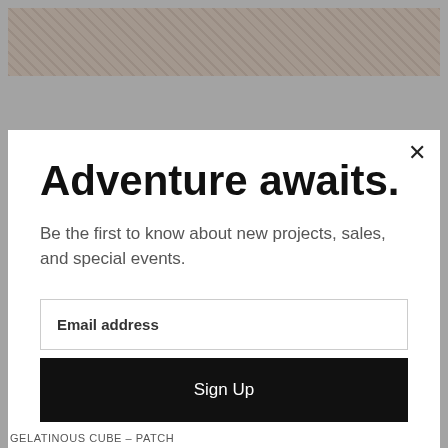[Figure (screenshot): Background webpage with stone/nature image at top and bottom, partially obscured by modal overlay]
Adventure awaits.
Be the first to know about new projects, sales, and special events.
Email address
Sign Up
GELATINOUS CUBE – PATCH